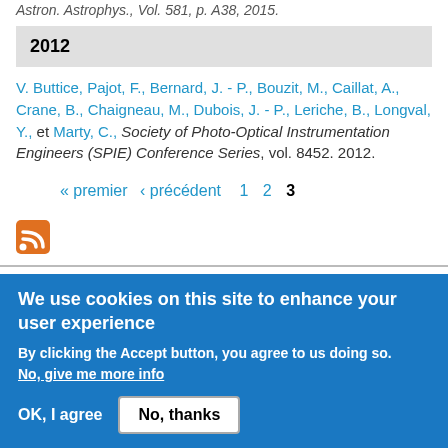Astron. Astrophys., Vol. 581, p. A38, 2015.
2012
V. Buttice, Pajot, F., Bernard, J. - P., Bouzit, M., Caillat, A., Crane, B., Chaigneau, M., Dubois, J. - P., Leriche, B., Longval, Y., et Marty, C., Society of Photo-Optical Instrumentation Engineers (SPIE) Conference Series, vol. 8452. 2012.
« premier ‹ précédent 1 2 3
[Figure (other): RSS feed icon]
We use cookies on this site to enhance your user experience
By clicking the Accept button, you agree to us doing so. No, give me more info
OK, I agree   No, thanks